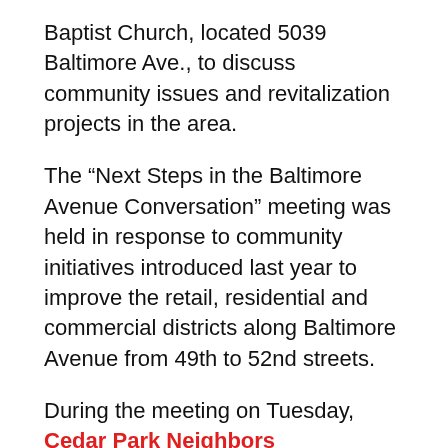Baptist Church, located 5039 Baltimore Ave., to discuss community issues and revitalization projects in the area.
The “Next Steps in the Baltimore Avenue Conversation” meeting was held in response to community initiatives introduced last year to improve the retail, residential and commercial districts along Baltimore Avenue from 49th to 52nd streets.
During the meeting on Tuesday, Cedar Park Neighbors Association coordinators presented a report of the finalized revitalization plans for the neighborhood, which included new facilities and green initiatives.
The Baltimore Avenue Community Counci...